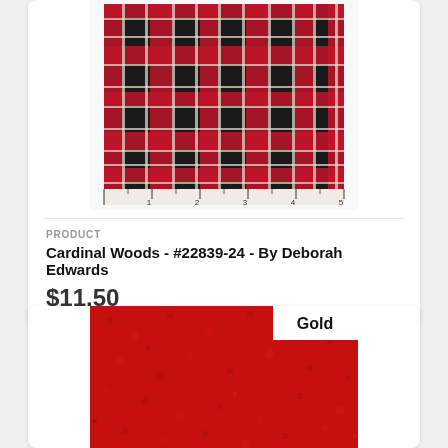[Figure (photo): Red, black, and white tartan/plaid fabric swatch with a ruler along the bottom edge showing measurements 1 through 5]
PRODUCT
Cardinal Woods - #22839-24 - By Deborah Edwards
$11.50
[Figure (photo): Solid red/crimson textured fabric swatch with a white badge labeled 'Gold' in the upper right corner]